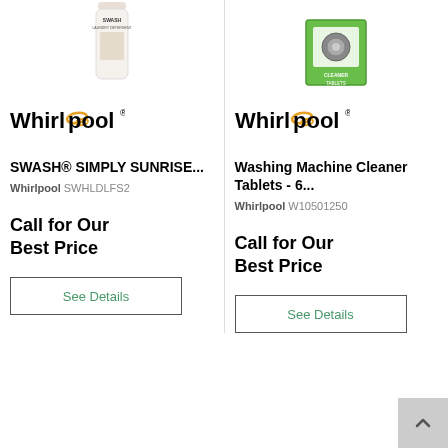[Figure (photo): Product image of SWASH laundry detergent bottle (white bottle with beige label)]
[Figure (photo): Product image of Washing Machine Cleaner Tablets in green packaging]
[Figure (logo): Whirlpool brand logo with yellow swirl]
SWASH® SIMPLY SUNRISE...
Whirlpool SWHLDLFS2
Call for Our Best Price
See Details
[Figure (logo): Whirlpool brand logo with yellow swirl]
Washing Machine Cleaner Tablets - 6...
Whirlpool W10501250
Call for Our Best Price
See Details